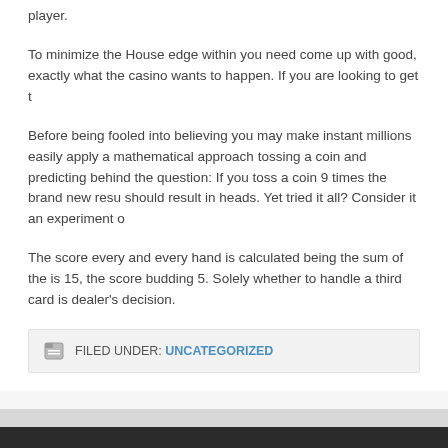player.
To minimize the House edge within you need come up with good, exactly what the casino wants to happen. If you are looking to get t
Before being fooled into believing you may make instant millions easily apply a mathematical approach tossing a coin and predicting behind the question: If you toss a coin 9 times the brand new resu should result in heads. Yet tried it all? Consider it an experiment o
The score every and every hand is calculated being the sum of the is 15, the score budding 5. Solely whether to handle a third card is dealer's decision.
FILED UNDER: UNCATEGORIZED
Return to top of page